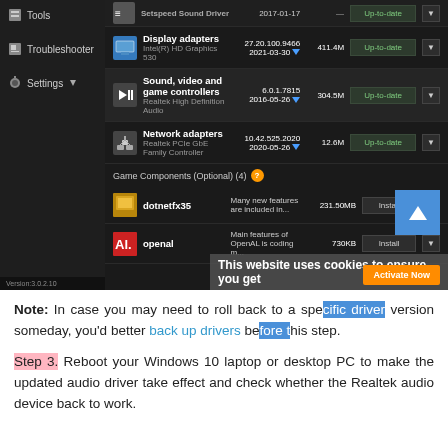[Figure (screenshot): Screenshot of a driver update utility application showing a dark-themed UI with left panel containing Tools, Troubleshooter, Settings menus and main panel listing driver categories: Display adapters (Intel HD Graphics 530, version 27.20.100.9466, 2021-03-30, 411.4M, Up-to-date), Sound video and game controllers (Realtek High Definition Audio, 6.0.1.7815, 2016-05-26, 304.5M, Up-to-date), Network adapters (Realtek PCIe GbE Family Controller, 10.42.525.2020, 2020-05-26, 12.6M, Up-to-date), Game Components (Optional)(4), dotnetfx35 (Many new features are included in..., 231.50MB, Install), openal (Main features of OpenAL is coding m..., 730KB, Install). Version 3.0.2.10 shown bottom left, orange Activate Now button bottom right, cookie notice overlay.]
Note: In case you may need to roll back to a specific driver version someday, you'd better back up drivers before this step.
Step 3. Reboot your Windows 10 laptop or desktop PC to make the updated audio driver take effect and check whether the Realtek audio device back to work.